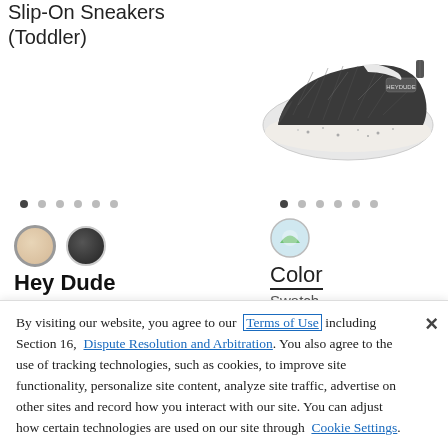Slip-On Sneakers (Toddler)
[Figure (photo): Dark gray knit slip-on sneaker for toddler with speckled white sole, Hey Dude brand]
Hey Dude
Color
Swatch .
By visiting our website, you agree to our Terms of Use including Section 16, Dispute Resolution and Arbitration. You also agree to the use of tracking technologies, such as cookies, to improve site functionality, personalize site content, analyze site traffic, advertise on other sites and record how you interact with our site. You can adjust how certain technologies are used on our site through Cookie Settings.